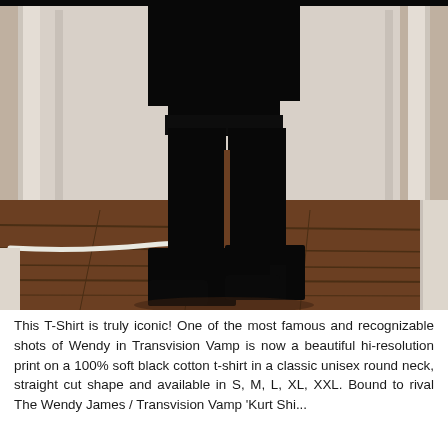[Figure (photo): A person wearing all black (dark top/dress and tight black pants) with black high-heeled ankle boots, standing in front of a white door frame in a room with dark hardwood floors. A white cable is visible on the floor.]
This T-Shirt is truly iconic! One of the most famous and recognizable shots of Wendy in Transvision Vamp is now a beautiful hi-resolution print on a 100% soft black cotton t-shirt in a classic unisex round neck, straight cut shape and available in S, M, L, XL, XXL. Bound to rival The Wendy James / Transvision Vamp 'Kurt Shirt'...